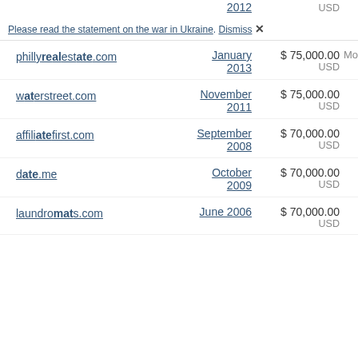2012 | USD
Please read the statement on the war in Ukraine. Dismiss ✕
phillyrealestate.com | January 2013 | $ 75,000.00 USD | Mo
waterstreet.com | November 2011 | $ 75,000.00 USD
affiliatefirst.com | September 2008 | $ 70,000.00 USD
date.me | October 2009 | $ 70,000.00 USD
laundromats.com | June 2006 | $ 70,000.00 USD